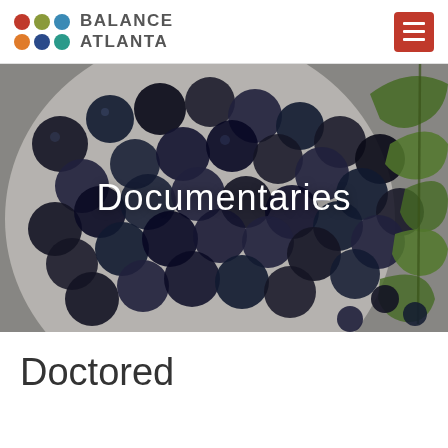BALANCE ATLANTA
[Figure (photo): A bowl of fresh blueberries with green leaves and scattered blueberries on a white surface, serving as a hero banner image with the text 'Documentaries' overlaid in white]
Documentaries
Doctored